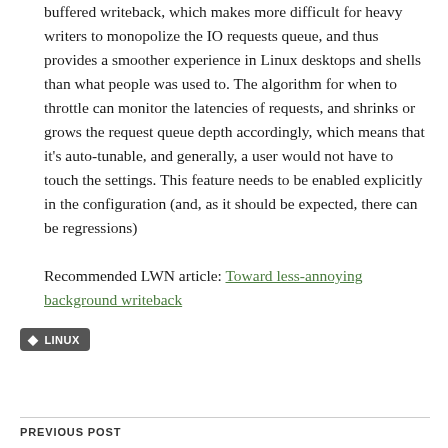buffered writeback, which makes more difficult for heavy writers to monopolize the IO requests queue, and thus provides a smoother experience in Linux desktops and shells than what people was used to. The algorithm for when to throttle can monitor the latencies of requests, and shrinks or grows the request queue depth accordingly, which means that it's auto-tunable, and generally, a user would not have to touch the settings. This feature needs to be enabled explicitly in the configuration (and, as it should be expected, there can be regressions)
Recommended LWN article: Toward less-annoying background writeback
LINUX
PREVIOUS POST